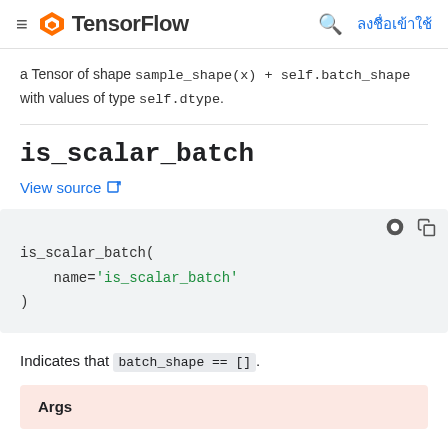TensorFlow — ลงชื่อเข้าใช้
a Tensor of shape sample_shape(x) + self.batch_shape with values of type self.dtype.
is_scalar_batch
View source
is_scalar_batch(
    name='is_scalar_batch'
)
Indicates that batch_shape == [].
Args